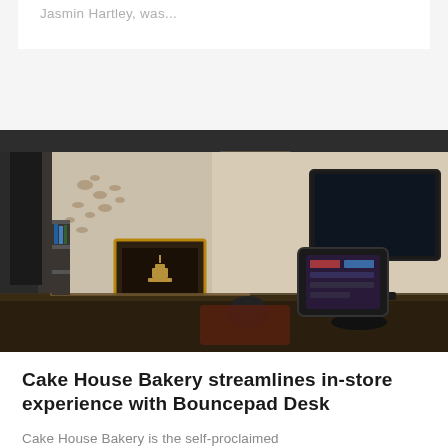Jasmin Hartley, was...
[Figure (photo): Interior of Cake House Bakery showing a reception desk with a Bouncepad Desk tablet stand, a monitor, a mouse, and decorative framed artwork on the wall in the background.]
Cake House Bakery streamlines in-store experience with Bouncepad Desk
Cake House Bakery is the self-proclaimed